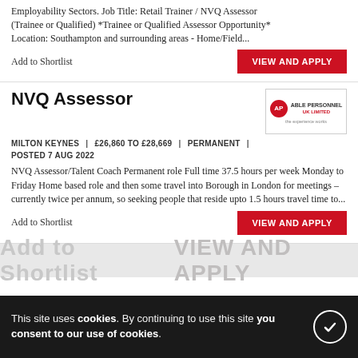Employability Sectors. Job Title: Retail Trainer / NVQ Assessor (Trainee or Qualified) *Trainee or Qualified Assessor Opportunity* Location: Southampton and surrounding areas - Home/Field...
Add to Shortlist
VIEW AND APPLY
NVQ Assessor
MILTON KEYNES | £26,860 TO £28,669 | PERMANENT | POSTED 7 AUG 2022
NVQ Assessor/Talent Coach Permanent role Full time 37.5 hours per week Monday to Friday Home based role and then some travel into Borough in London for meetings – currently twice per annum, so seeking people that reside upto 1.5 hours travel time to...
Add to Shortlist
VIEW AND APPLY
This site uses cookies. By continuing to use this site you consent to our use of cookies.